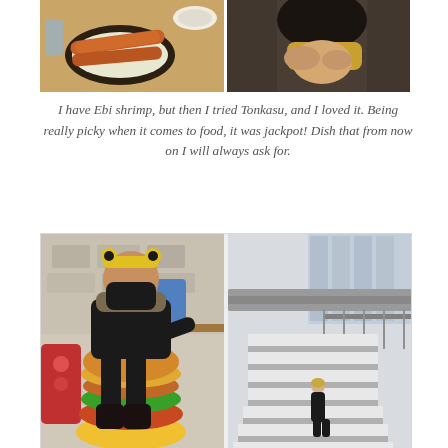[Figure (photo): Two photos side by side at top: left shows fried Ebi shrimp and Tonkasu dish with shredded cabbage on a wooden table; right shows a close-up of a person with blonde hair wearing a dark beanie hat.]
I have Ebi shrimp, but then I tried Tonkasu, and I loved it. Being really picky when it comes to food, it was jackpot! Dish that from now on I will always ask for.
[Figure (photo): Two photos side by side at bottom: left shows a young girl sitting on a giant burger prop/seat, wearing black coat and mask with a yellow headband, at an outdoor cafe; right shows a person walking up wide outdoor concrete stairs with a modern glass building in the background.]